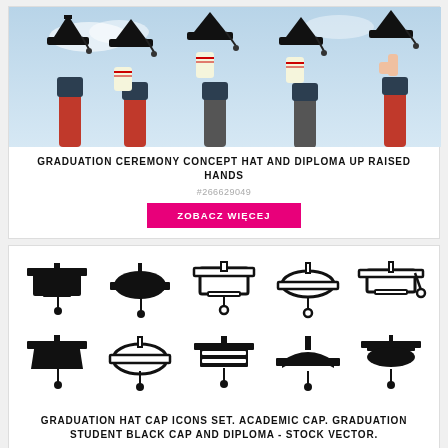[Figure (photo): Graduation ceremony photo showing multiple hands raised holding mortarboard caps and diplomas against a blue sky background]
GRADUATION CEREMONY CONCEPT HAT AND DIPLOMA UP RAISED HANDS
#266629049
ZOBACZ WIĘCEJ
[Figure (illustration): Set of 10 graduation mortarboard cap icons in various styles — filled, outline, and hybrid — arranged in 2 rows of 5]
GRADUATION HAT CAP ICONS SET. ACADEMIC CAP. GRADUATION STUDENT BLACK CAP AND DIPLOMA - STOCK VECTOR.
#390232056
ZOBACZ WIĘCEJ